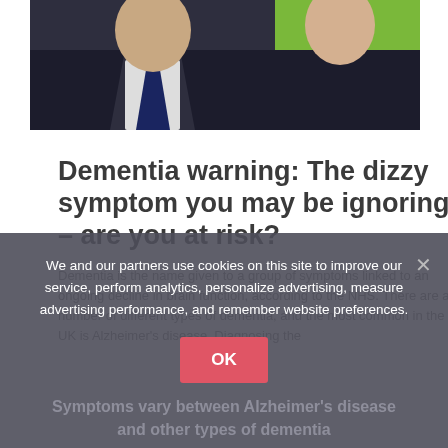[Figure (photo): Two people in the upper portion: a man in a dark suit with a navy tie on the left, and a woman in a bright green top on the right, cropped at shoulder/chest level.]
Dementia warning: The dizzy symptom you may be ignoring – are you at risk?
Dementia is the name given to a group of symptoms linked to an ongoing decline in brain function, according to the NHS. There are a number of different types of dementia, and the most common in the UK is Alzheimer's disease. Diagnosing the
We and our partners use cookies on this site to improve our service, perform analytics, personalize advertising, measure advertising performance, and remember website preferences.
Symptoms vary between Alzheimer's disease and other types of dementia